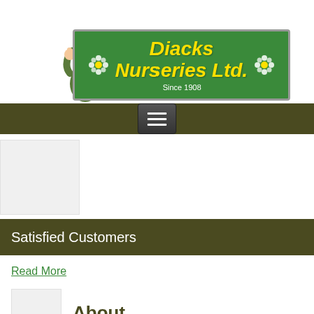[Figure (logo): Diacks Nurseries Ltd. logo with cartoon character giving thumbs up, green sign with yellow italic text, flowers decoration, and 'Since 1908' subtitle]
[Figure (screenshot): Navigation bar with hamburger menu button on dark olive/brown background]
[Figure (photo): Placeholder image area (white/grey box)]
Satisfied Customers
Read More
[Figure (photo): Small placeholder thumbnail image]
About...